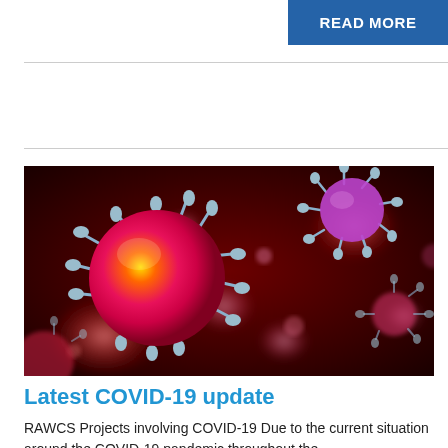READ MORE
[Figure (photo): Microscopic 3D render of COVID-19 coronavirus particles shown in red/magenta with blue spike proteins against a dark red background]
Latest COVID-19 update
RAWCS Projects involving COVID-19 Due to the current situation around the COVID-19 pandemic throughout the